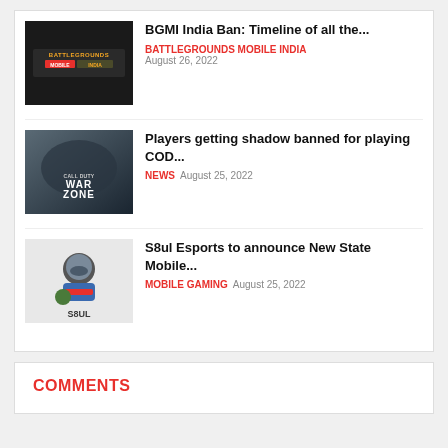[Figure (screenshot): Battlegrounds Mobile India game logo thumbnail - dark background with orange BATTLEGROUNDS MOBILE INDIA text]
BGMI India Ban: Timeline of all the...
BATTLEGROUNDS MOBILE INDIA  August 26, 2022
[Figure (screenshot): Call of Duty Warzone promotional image with soldiers]
Players getting shadow banned for playing COD...
NEWS  August 25, 2022
[Figure (logo): S8ul Esports logo - cartoon character with S8UL text]
S8ul Esports to announce New State Mobile...
MOBILE GAMING  August 25, 2022
COMMENTS